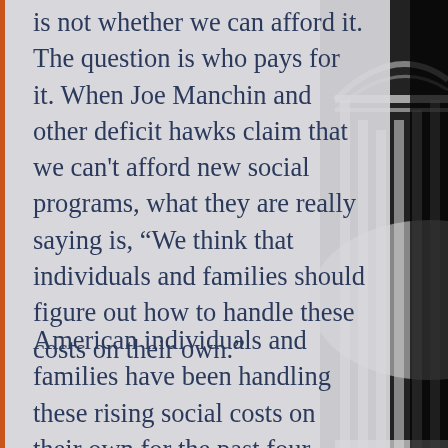is not whether we can afford it. The question is who pays for it. When Joe Manchin and other deficit hawks claim that we can't afford new social programs, what they are really saying is, “We think that individuals and families should figure out how to handle these costs on their own.”
[Figure (photo): Black and white photograph of the US Capitol building rotunda columns on the right side of the page]
American individuals and families have been handling these rising social costs on their own for the past four